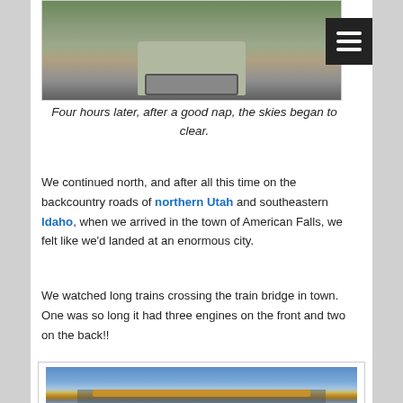[Figure (photo): Front view of a pickup truck on a dirt road, viewed from low angle]
Four hours later, after a good nap, the skies began to clear.
We continued north, and after all this time on the backcountry roads of northern Utah and southeastern Idaho, when we arrived in the town of American Falls, we felt like we'd landed at an enormous city.
We watched long trains crossing the train bridge in town. One was so long it had three engines on the front and two on the back!!
[Figure (photo): Yellow Union Pacific train engines crossing a steel bridge with blue sky in background]